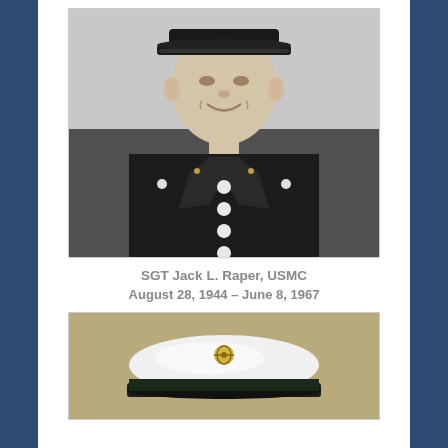[Figure (photo): Black and white portrait photograph of SGT Jack L. Raper in USMC dress uniform with cap]
SGT Jack L. Raper, USMC
August 28, 1944 – June 8, 1967
[Figure (photo): Color photograph of a white USMC dress cap with eagle globe and anchor emblem on a khaki/olive background]